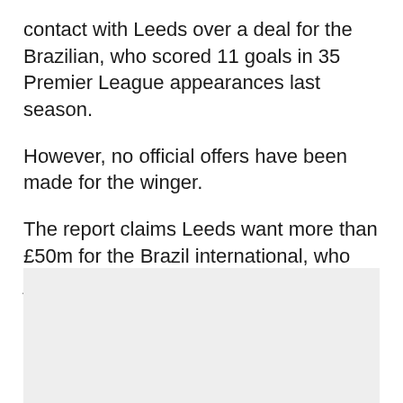contact with Leeds over a deal for the Brazilian, who scored 11 goals in 35 Premier League appearances last season.
However, no official offers have been made for the winger.
The report claims Leeds want more than £50m for the Brazil international, who joined the Yorkshire club in a £17m move from Rennes in 2020.
[Figure (other): Light grey advertisement/placeholder box]